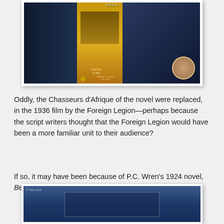[Figure (photo): Movie poster image showing scenes from a 1936 film, with military figures, a romantic couple, and a woman's portrait inset, in dramatic colors of blue, yellow, and orange]
Oddly, the Chasseurs d'Afrique of the novel were replaced, in the 1936 film by the Foreign Legion—perhaps because the script writers thought that the Foreign Legion would have been a more familiar unit to their audience?
If so, it may have been because of P.C. Wren's 1924 novel, Beau Geste,
[Figure (photo): A dark blue-toned image, possibly a book cover or film still, with a watermark reading '© five.com' in the top left corner and a rectangular framed element in the center]